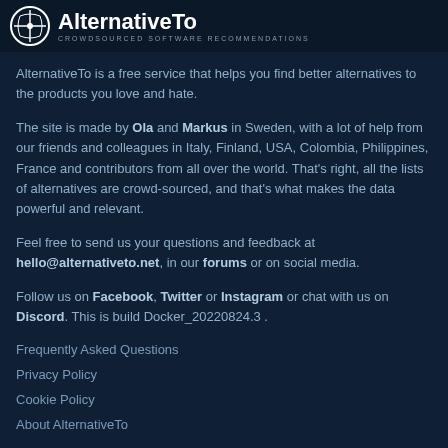AlternativeTo - CROWDSOURCED SOFTWARE RECOMMENDATIONS
AlternativeTo is a free service that helps you find better alternatives to the products you love and hate.
The site is made by Ola and Markus in Sweden, with a lot of help from our friends and colleagues in Italy, Finland, USA, Colombia, Philippines, France and contributors from all over the world. That's right, all the lists of alternatives are crowd-sourced, and that's what makes the data powerful and relevant.
Feel free to send us your questions and feedback at hello@alternativeto.net, in our forums or on social media.
Follow us on Facebook, Twitter or Instagram or chat with us on Discord. This is build Docker_20220824.3 .
Frequently Asked Questions
Privacy Policy
Cookie Policy
About AlternativeTo